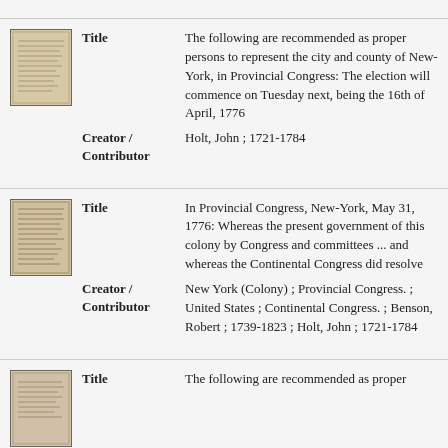[Figure (photo): Thumbnail of a historical document, aged paper with handwritten/printed text]
Title: The following are recommended as proper persons to represent the city and county of New-York, in Provincial Congress: The election will commence on Tuesday next, being the 16th of April, 1776
Creator / Contributor: Holt, John ; 1721-1784
[Figure (photo): Thumbnail of a historical handwritten document, aged paper]
Title: In Provincial Congress, New-York, May 31, 1776: Whereas the present government of this colony by Congress and committees ... and whereas the Continental Congress did resolve
Creator / Contributor: New York (Colony) ; Provincial Congress. ; United States ; Continental Congress. ; Benson, Robert ; 1739-1823 ; Holt, John ; 1721-1784
[Figure (photo): Thumbnail of a historical printed document, aged paper]
Title: The following are recommended as proper